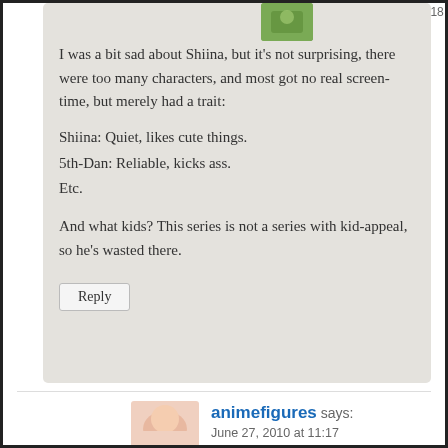[Figure (photo): Small avatar thumbnail of a commenter, showing green/nature tones]
June 27, 2010 at 19:18
I was a bit sad about Shiina, but it's not surprising, there were too many characters, and most got no real screen-time, but merely had a trait:
Shiina: Quiet, likes cute things.
5th-Dan: Reliable, kicks ass.
Etc.

And what kids? This series is not a series with kid-appeal, so he's wasted there.
Reply
[Figure (photo): Small avatar thumbnail for animefigures commenter, showing light peach/skin tones]
animefigures says:
June 27, 2010 at 11:17
Started strong? Are you serious? This series was sooo bad at the begining, I even considere dropping it half way through, but the end I